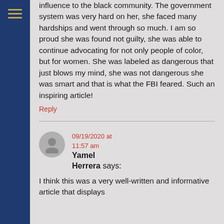influence to the black community. The government system was very hard on her, she faced many hardships and went through so much. I am so proud she was found not guilty, she was able to continue advocating for not only people of color, but for women. She was labeled as dangerous that just blows my mind, she was not dangerous she was smart and that is what the FBI feared. Such an inspiring article!
Reply
Yamel Herrera says:
09/19/2020 at 11:57 am
I think this was a very well-written and informative article that displays